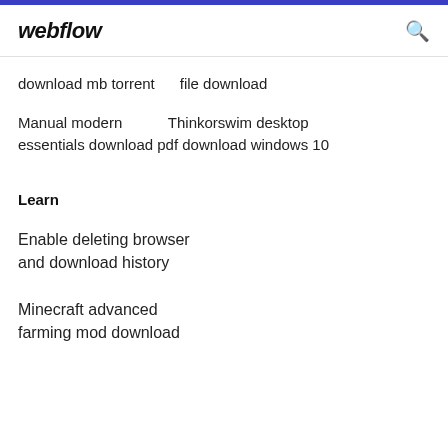webflow
download mb torrent    file download
Manual modern              Thinkorswim desktop essentials download pdf download windows 10
Learn
Enable deleting browser and download history
Minecraft advanced farming mod download